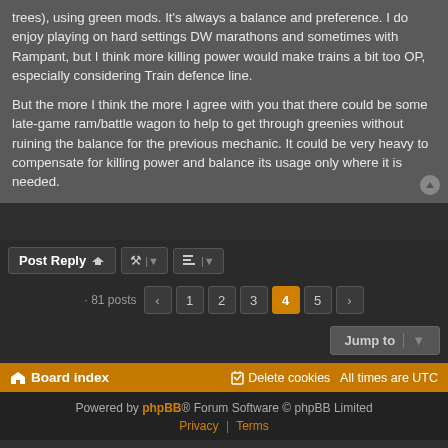trees), using green mods. It's always a balance and preference. I do enjoy playing on hard settings DW marathons and sometimes with Rampant, but I think more killing power would make trains a bit too OP, especially considering Train defence line.

But the more I think the more I agree with you that there could be some late-game ram/battle wagon to help to get through greenies without ruining the balance for the previous mechanic. It could be very heavy to compensate for killing power and balance its usage only where it is needed.
Post Reply | toolbar buttons | 81 posts | pages 1 2 3 4 5 | Jump to | Board index | Delete cookies | All times are UTC | Powered by phpBB® Forum Software © phpBB Limited | Privacy | Terms